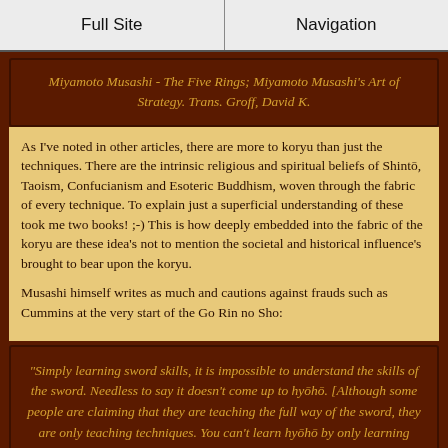Full Site | Navigation
Miyamoto Musashi - The Five Rings; Miyamoto Musashi's Art of Strategy. Trans. Groff, David K.
As I've noted in other articles, there are more to koryu than just the techniques. There are the intrinsic religious and spiritual beliefs of Shintō, Taoism, Confucianism and Esoteric Buddhism, woven through the fabric of every technique. To explain just a superficial understanding of these took me two books! ;-) This is how deeply embedded into the fabric of the koryu are these idea's not to mention the societal and historical influence's brought to bear upon the koryu.
Musashi himself writes as much and cautions against frauds such as Cummins at the very start of the Go Rin no Sho:
"Simply learning sword skills, it is impossible to understand the skills of the sword. Needless to say it doesn't come up to hyōhō. [Although some people are claiming that they are teaching the full way of the sword, they are only teaching techniques. You can't learn hyōhō by only learning techniques]"